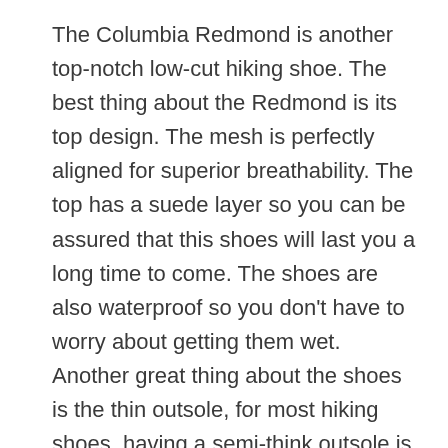The Columbia Redmond is another top-notch low-cut hiking shoe. The best thing about the Redmond is its top design. The mesh is perfectly aligned for superior breathability. The top has a suede layer so you can be assured that this shoes will last you a long time to come. The shoes are also waterproof so you don't have to worry about getting them wet. Another great thing about the shoes is the thin outsole, for most hiking shoes, having a semi-think outsole is important but for the terrains of Hawaii, a think sole will be a perfect choice as well as making things ergonomic. The outsole of the shoes has something the brand calls Omni grip. That's just a fancy term for a better slip